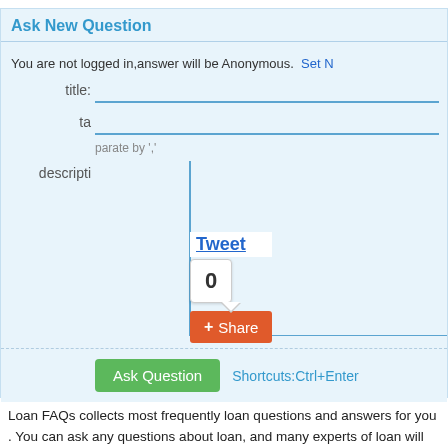Ask New Question
You are not logged in,answer will be Anonymous.  Set N
title:
ta
[Figure (screenshot): Tweet link and social share tooltip popup showing '0' count and Share button overlay on the form]
parate by ','
descripti
Ask Question   Shortcuts:Ctrl+Enter
Loan FAQs collects most frequently loan questions and answers for you . You can ask any questions about loan, and many experts of loan will help you to answer it.